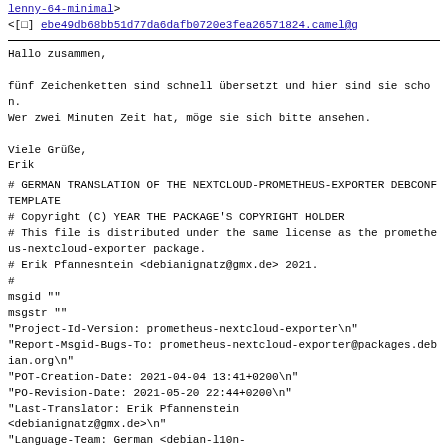lenny-64-minimal>
<[□] ebe49db68bb51d77da6dafb0720e3fea26571824.camel@g
Hallo zusammen,

fünf Zeichenketten sind schnell übersetzt und hier sind sie schon.
Wer zwei Minuten Zeit hat, möge sie sich bitte ansehen.

Viele Grüße,
Erik
# GERMAN TRANSLATION OF THE NEXTCLOUD-PROMETHEUS-EXPORTER DEBCONF TEMPLATE
# Copyright (C) YEAR THE PACKAGE'S COPYRIGHT HOLDER
# This file is distributed under the same license as the prometheus-nextcloud-exporter package.
# Erik Pfannesntein <debianignatz@gmx.de> 2021.
#
msgid ""
msgstr ""
"Project-Id-Version: prometheus-nextcloud-exporter\n"
"Report-Msgid-Bugs-To: prometheus-nextcloud-exporter@packages.debian.org\n"
"POT-Creation-Date: 2021-04-04 13:41+0200\n"
"PO-Revision-Date: 2021-05-20 22:44+0200\n"
"Last-Translator: Erik Pfannenstein <debianignatz@gmx.de>\n"
"Language-Team: German <debian-l10n-